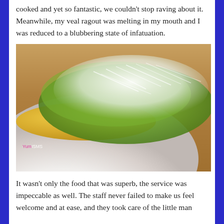cooked and yet so fantastic, we couldn't stop raving about it. Meanwhile, my veal ragout was melting in my mouth and I was reduced to a blubbering state of infatuation.
[Figure (photo): Close-up photo of a white bowl containing pasta or ravioli topped with arugula greens and shredded parmesan cheese. Watermark reads 'Yumisms' in bottom left.]
It wasn't only the food that was superb, the service was impeccable as well. The staff never failed to make us feel welcome and at ease, and they took care of the little man